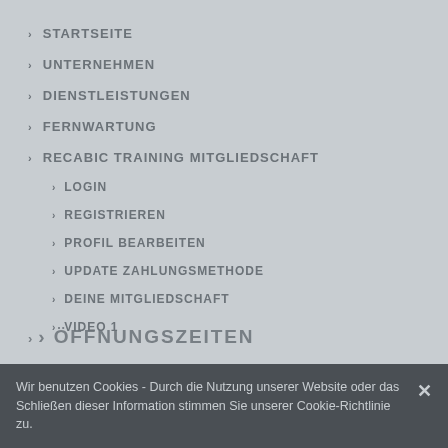STARTSEITE
UNTERNEHMEN
DIENSTLEISTUNGEN
FERNWARTUNG
RECABIC TRAINING MITGLIEDSCHAFT
LOGIN
REGISTRIEREN
PROFIL BEARBEITEN
UPDATE ZAHLUNGSMETHODE
DEINE MITGLIEDSCHAFT
VIDEO 1
ÖFFNUNGSZEITEN
Wir benutzen Cookies - Durch die Nutzung unserer Website oder das Schließen dieser Information stimmen Sie unserer Cookie-Richtlinie zu.